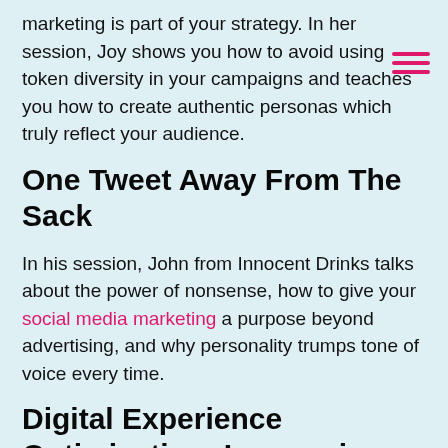marketing is part of your strategy. In her session, Joy shows you how to avoid using token diversity in your campaigns and teaches you how to create authentic personas which truly reflect your audience.
One Tweet Away From The Sack
In his session, John from Innocent Drinks talks about the power of nonsense, how to give your social media marketing a purpose beyond advertising, and why personality trumps tone of voice every time.
Digital Experience Optimisation: Leveraging Data Led Decision Making
Do you find it hard to measure success in